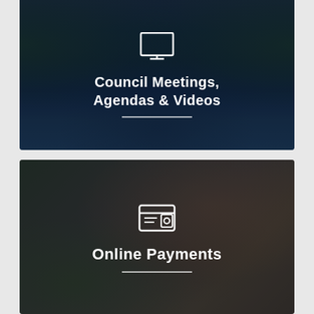[Figure (photo): Aerial/lake view photo card with icon and text overlay showing Council Meetings, Agendas & Videos]
[Figure (photo): Photo of woman using phone for online payment with icon and text overlay showing Online Payments]